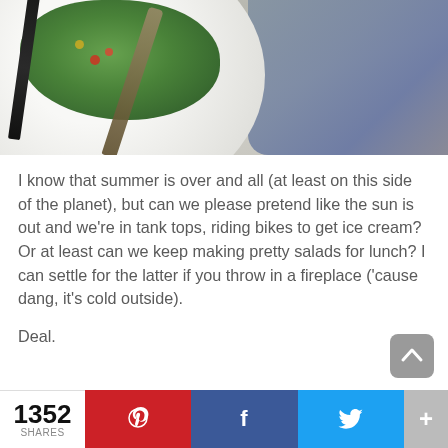[Figure (photo): Overhead photo of a white plate with green salad leaves and a fork, placed on a whitewashed wooden table with a dark blue denim/fabric napkin in the background to the right.]
I know that summer is over and all (at least on this side of the planet), but can we please pretend like the sun is out and we're in tank tops, riding bikes to get ice cream? Or at least can we keep making pretty salads for lunch? I can settle for the latter if you throw in a fireplace ('cause dang, it's cold outside).
Deal.
1352 SHARES